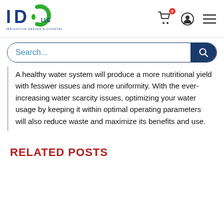[Figure (logo): IDC LLC Irrigation Design & Construction logo with blue and green letters]
A healthy water system will produce a more nutritional yield with fesswer issues and more uniformity. With the ever-increasing water scarcity issues, optimizing your water usage by keeping it within optimal operating parameters will also reduce waste and maximize its benefits and use.
RELATED POSTS